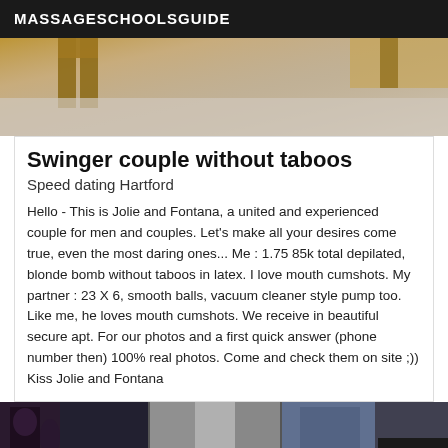MASSAGESCHOOLSGUIDE
[Figure (photo): Partial photo of a room interior with wooden furniture/door visible and beige/grey carpeted floor or surface]
Swinger couple without taboos
Speed dating Hartford
Hello - This is Jolie and Fontana, a united and experienced couple for men and couples. Let's make all your desires come true, even the most daring ones... Me : 1.75 85k total depilated, blonde bomb without taboos in latex. I love mouth cumshots. My partner : 23 X 6, smooth balls, vacuum cleaner style pump too. Like me, he loves mouth cumshots. We receive in beautiful secure apt. For our photos and a first quick answer (phone number then) 100% real photos. Come and check them on site ;)) Kiss Jolie and Fontana
[Figure (photo): Three partial thumbnail images at the bottom of the page showing decorative/interior scenes, with a 'Verified' badge overlay on the right side]